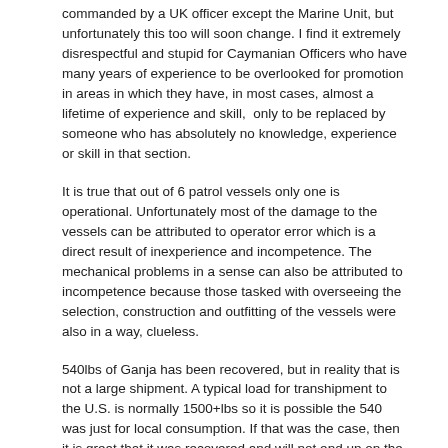commanded by a UK officer except the Marine Unit, but unfortunately this too will soon change. I find it extremely disrespectful and stupid for Caymanian Officers who have many years of experience to be overlooked for promotion in areas in which they have, in most cases, almost a lifetime of experience and skill,  only to be replaced by someone who has absolutely no knowledge, experience or skill in that section.
It is true that out of 6 patrol vessels only one is operational. Unfortunately most of the damage to the vessels can be attributed to operator error which is a direct result of inexperience and incompetence. The mechanical problems in a sense can also be attributed to incompetence because those tasked with overseeing the selection, construction and outfitting of the vessels were also in a way, clueless.
540lbs of Ganja has been recovered, but in reality that is not a large shipment. A typical load for transhipment to the U.S. is normally 1500+lbs so it is possible the 540 was just for local consumption. If that was the case, then it is great that it was recovered and will not end up on the street. Although these two incidents are big news now it does not mean that this is something new or an isolated incident. If the truth was known, i'm sure we would be shocked to realize how often this type of activity takes place. Remember, just because a crime goes